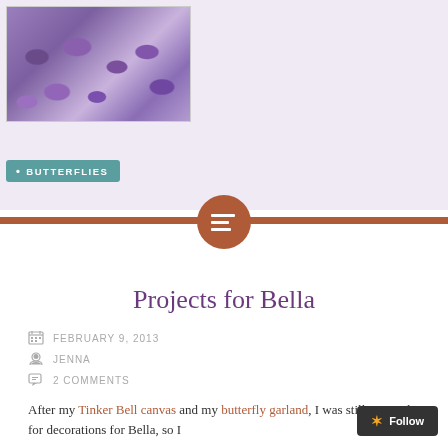[Figure (photo): Purple paper butterfly cutouts arranged on a light surface, viewed from above]
BUTTERFLIES
[Figure (other): Horizontal rust/terracotta divider bar with circular icon in the center showing a text/menu symbol]
Projects for Bella
FEBRUARY 9, 2013
JENNA
2 COMMENTS
After my Tinker Bell canvas and my butterfly garland, I was still inspired for decorations for Bella, so I